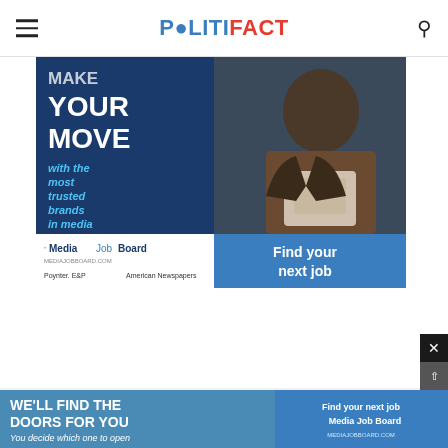POLITIFACT
[Figure (photo): Media Job Board advertisement showing a man in a suit looking at a tablet. Text reads: MAKE YOUR MOVE with the most trusted brands in media. Media Job Board - mediajobboard.com. Poynter, E&P, America's Newspapers. Find your next job.]
[Figure (photo): Bottom banner ad: WE'LL FIND THE DOORS FOR YOU - You decide which one to open. Find your next job - Media Job Board.]